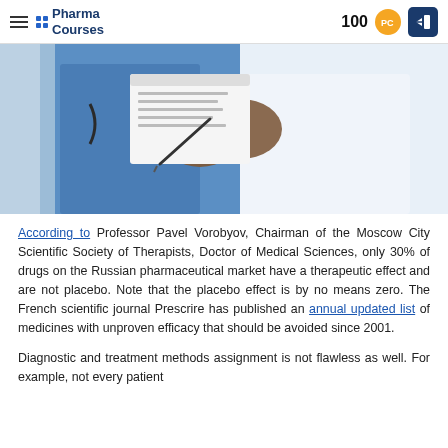Pharma Courses — 100 points — login
[Figure (photo): Close-up photo of a doctor in white coat and a person in blue scrubs, the doctor writing on a clipboard with a pen.]
According to Professor Pavel Vorobyov, Chairman of the Moscow City Scientific Society of Therapists, Doctor of Medical Sciences, only 30% of drugs on the Russian pharmaceutical market have a therapeutic effect and are not placebo. Note that the placebo effect is by no means zero. The French scientific journal Prescrire has published an annual updated list of medicines with unproven efficacy that should be avoided since 2001.
Diagnostic and treatment methods assignment is not flawless as well. For example, not every patient